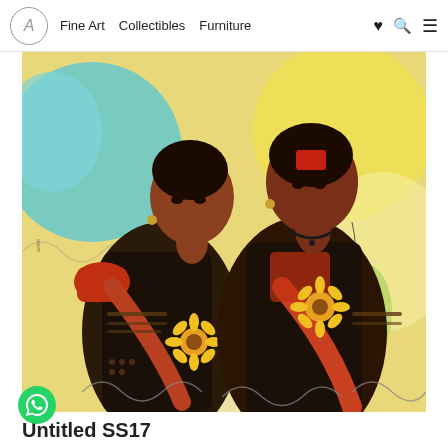Fine Art   Collectibles   Furniture
[Figure (photo): A painting depicting two Indian women in red and black patterned sarees holding sunflowers, with a colorful abstract background of yellows, blues, and greens.]
Untitled SS17